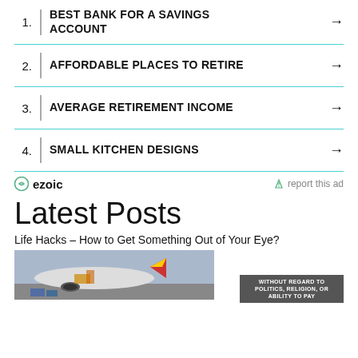1. BEST BANK FOR A SAVINGS ACCOUNT →
2. AFFORDABLE PLACES TO RETIRE →
3. AVERAGE RETIREMENT INCOME →
4. SMALL KITCHEN DESIGNS →
ezoic   report this ad
Latest Posts
Life Hacks – How to Get Something Out of Your Eye?
[Figure (photo): Airplane being loaded with cargo, banner overlay reading WITHOUT REGARD TO POLITICS, RELIGION, OR ABILITY TO PAY]